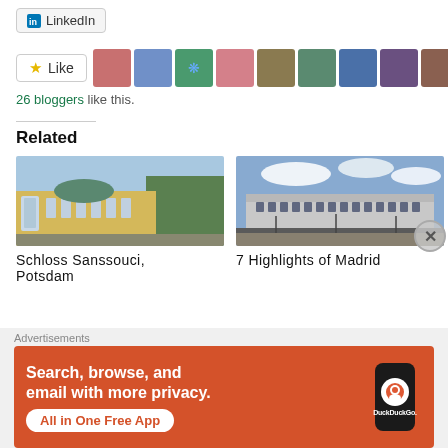[Figure (screenshot): LinkedIn share button at top]
[Figure (screenshot): Like button with star icon and a row of 11 blogger avatar thumbnails]
26 bloggers like this.
Related
[Figure (photo): Photo of Schloss Sanssouci palace in Potsdam, Germany - baroque yellow building with ornate facade]
[Figure (photo): Photo of a large neoclassical palace in Madrid with blue sky and clouds in background]
Schloss Sanssouci, Potsdam
7 Highlights of Madrid
Advertisements
[Figure (screenshot): DuckDuckGo advertisement banner: orange background with white bold text 'Search, browse, and email with more privacy.' and 'All in One Free App' CTA button, plus a phone graphic with DuckDuckGo logo]